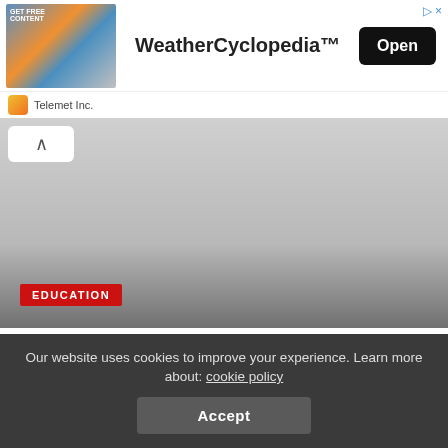[Figure (screenshot): WeatherCyclopedia app advertisement banner with app image, title, and Open button, plus Telemet Inc. branding row]
[Figure (photo): Hero image with gray gradient background, collapse arrow button, and red EDUCATION tag at bottom left]
How to Stay in Control of Stress When Getting Your
Our website uses cookies to improve your experience. Learn more about: cookie policy
Accept